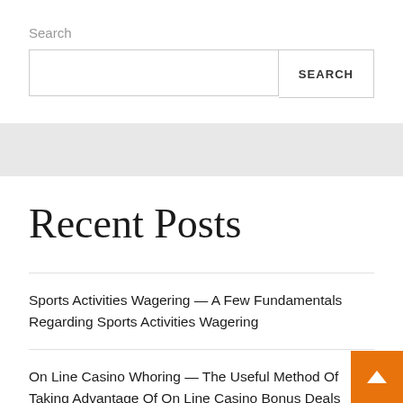Search
SEARCH
Recent Posts
Sports Activities Wagering — A Few Fundamentals Regarding Sports Activities Wagering
On Line Casino Whoring — The Useful Method Of Taking Advantage Of On Line Casino Bonus Deals